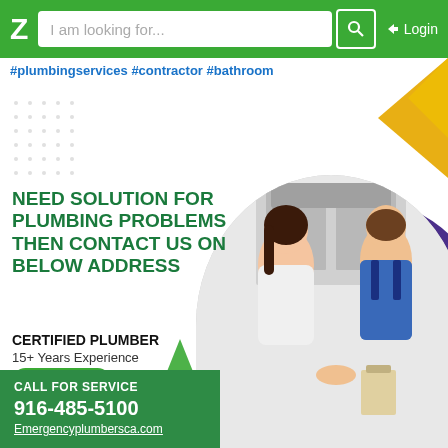Z  I am looking for...  [search icon]  Login
#plumbingservices #contractor #bathroom
NEED SOLUTION FOR PLUMBING PROBLEMS THEN CONTACT US ON BELOW ADDRESS
CERTIFIED PLUMBER
15+ Years Experience
★★★★★
From 230+ Ratings
[Figure (photo): A woman shaking hands with a male plumber in blue overalls in a kitchen setting]
CALL FOR SERVICE
916-485-5100
Emergencyplumbersca.com